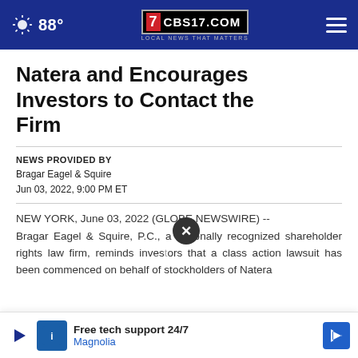88° CBS17.COM LOCAL NEWS THAT MATTERS
Natera and Encourages Investors to Contact the Firm
NEWS PROVIDED BY
Bragar Eagel & Squire
Jun 03, 2022, 9:00 PM ET
NEW YORK, June 03, 2022 (GLOBE NEWSWIRE) -- Bragar Eagel & Squire, P.C., a nationally recognized shareholder rights law firm, reminds investors that a class action lawsuit has been commenced on behalf of stockholders of Natera